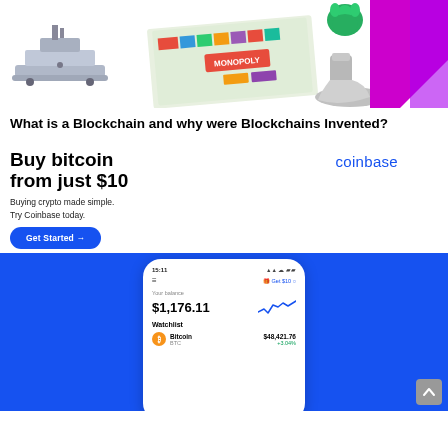[Figure (photo): Monopoly board game scene with battleship token, green dog token, boot token, and purple/magenta geometric design on the right]
What is a Blockchain and why were Blockchains Invented?
[Figure (screenshot): Coinbase advertisement showing 'Buy bitcoin from just $10' with coinbase logo, 'Buying crypto made simple. Try Coinbase today.' text, Get Started button, and a phone mockup showing $1,176.11 balance, Watchlist with Bitcoin BTC at $48,421.76 +3.04%]
[Figure (screenshot): Coinbase mobile app screenshot on blue background showing balance of $1,176.11 and Bitcoin watchlist entry at $48,421.76 +3.04%]